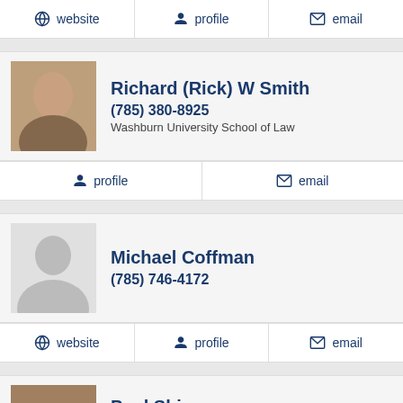website | profile | email
Richard (Rick) W Smith
(785) 380-8925
Washburn University School of Law
profile | email
Michael Coffman
(785) 746-4172
website | profile | email
Paul Shinn